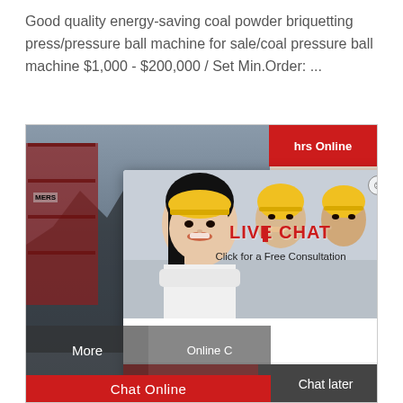Good quality energy-saving coal powder briquetting press/pressure ball machine for sale/coal pressure ball machine $1,000 - $200,000 / Set Min.Order: ...
[Figure (screenshot): Screenshot of a product listing page with a live chat popup overlay. Shows industrial workers in yellow hard hats, LIVE CHAT header in red, 'Click for a Free Consultation' text, 'Chat now' and 'Chat later' buttons, a customer service representative with headset on the right panel with 'Need questions & suggestion?' text and 'Chat Now' button. A red bottom bar with 'Chat Online' text. Industrial/machinery scene in the background.]